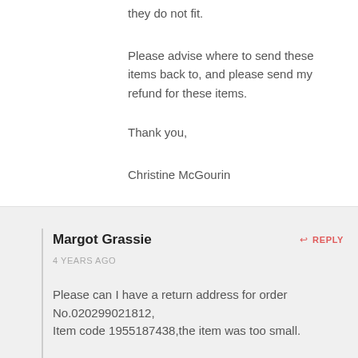they do not fit.
Please advise where to send these items back to, and please send my refund for these items.
Thank you,
Christine McGourin
Margot Grassie
4 YEARS AGO
REPLY
Please can I have a return address for order No.020299021812,
Item code 1955187438,the item was too small.